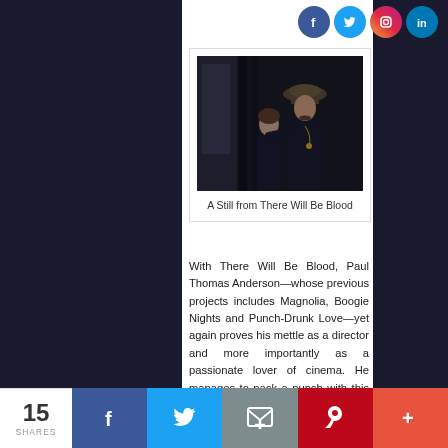[Figure (photo): Social media icons: Facebook, Twitter, Instagram, LinkedIn]
[Figure (photo): A still from the movie 'There Will Be Blood' showing a man in a hat with a boy]
A Still from There Will Be Blood
With There Will Be Blood, Paul Thomas Anderson—whose previous projects includes Magnolia, Boogie Nights and Punch-Drunk Love—yet again proves his mettle as a director and more importantly as a passionate lover of cinema. He manages to pack a punch with this poignant, and a deeply disturbing
15 SHARES | Facebook | Twitter | Email | Pinterest | More